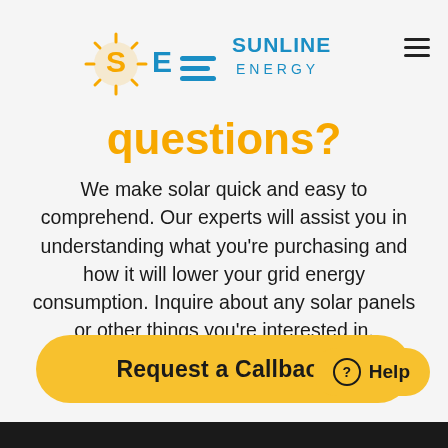[Figure (logo): Sunline Energy logo: stylized SE letters with sun rays in orange, blue horizontal lines, text SUNLINE ENERGY in blue]
questions?
We make solar quick and easy to comprehend. Our experts will assist you in understanding what you're purchasing and how it will lower your grid energy consumption. Inquire about any solar panels or other things you're interested in.
Request a Callback
Help